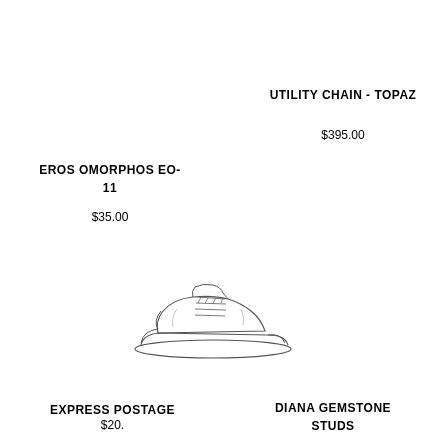UTILITY CHAIN - TOPAZ
$395.00
EROS OMORPHOS EO-11
$35.00
[Figure (illustration): Line drawing illustration of a sneaker/casual shoe facing right]
EXPRESS POSTAGE
$20.
DIANA GEMSTONE STUDS